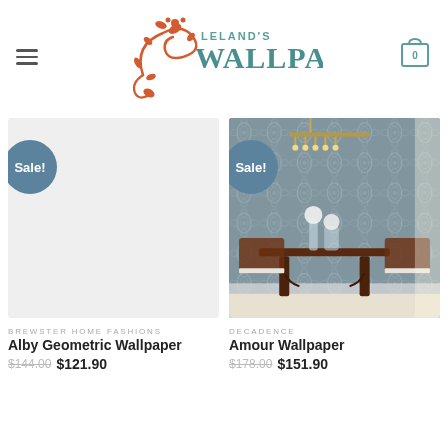[Figure (logo): Leland's Wallpaper logo with decorative floral swirl in orange-red and teal text]
[Figure (photo): Product card for Alby Geometric Wallpaper with Sale badge, light gray placeholder image]
BREWSTER HOME FASHIONS
Alby Geometric Wallpaper
$144.00 $121.90
[Figure (photo): Product card for Amour Wallpaper with Sale badge, showing a dining room with damask patterned wallpaper]
DECADENCE
Amour Wallpaper
$178.00 $151.90